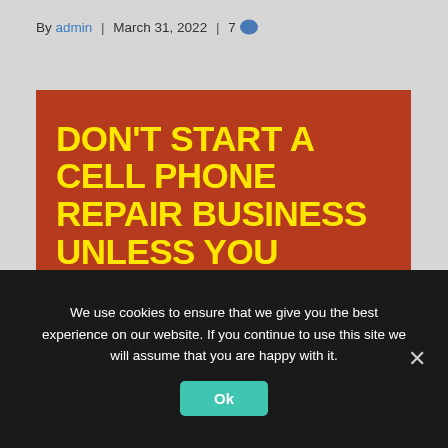By admin | March 31, 2022 | 7 💬
[Figure (illustration): Dark red/brown background image with bold yellow text reading: DON'T START A CELL PHONE REPAIR BUSINESS UNLESS YOU WATCH THIS FIRST!]
How to Start a Cell Phone Repair Business | Including Free Phone Repair Business Plan Template ✦ Get a FREE High Quality Business Plan Template, Here:
We use cookies to ensure that we give you the best experience on our website. If you continue to use this site we will assume that you are happy with it.